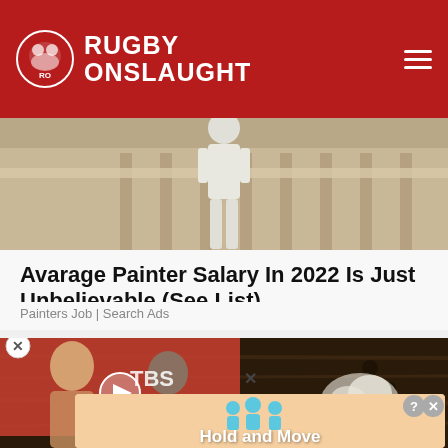Rugby Onslaught
[Figure (photo): Painter in white overalls working near wooden railings]
Avarage Painter Salary In 2022 Is Just Unbelievable (See List)
Painters Job | Search Ads
[Figure (photo): Dark wood texture with mold/fungus, video player overlay showing two men with TBS branding, and a mushroom/cauliflower image]
[Figure (screenshot): Advertisement banner with people icons and text 'Hold and Move' on a peach/salmon background]